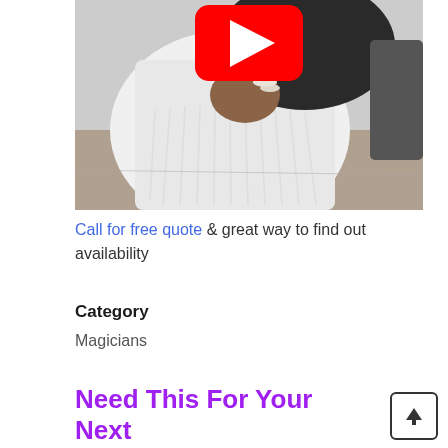[Figure (screenshot): YouTube video thumbnail showing a person holding white fabric/dress, with YouTube play button overlay in the top center]
Call for free quote & great way to find out availability
Category
Magicians
Need This For Your Next